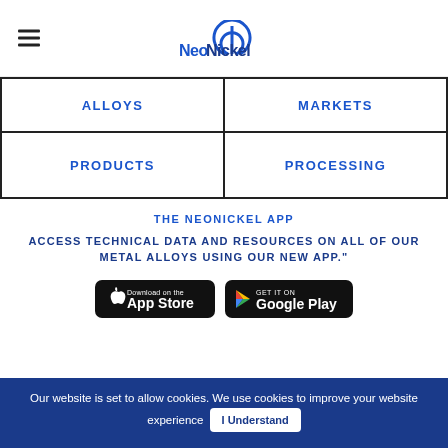[Figure (logo): NeoNickel logo with circular arc icon and bold blue text]
ALLOYS
MARKETS
PRODUCTS
PROCESSING
THE NEONICKEL APP
ACCESS TECHNICAL DATA AND RESOURCES ON ALL OF OUR METAL ALLOYS USING OUR NEW APP."
[Figure (screenshot): Download on the App Store button (black rounded rectangle)]
[Figure (screenshot): Get it on Google Play button (black rounded rectangle)]
Our website is set to allow cookies. We use cookies to improve your website experience  I Understand